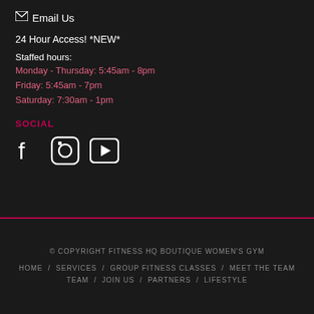✉ Email Us
24 Hour Access! *NEW*
Staffed hours:
Monday - Thursday: 5:45am - 8pm
Friday: 5:45am - 7pm
Saturday: 7:30am - 1pm
SOCIAL
[Figure (other): Social media icons: Facebook, Instagram, YouTube]
© COPYRIGHT FITNESS HQ BOUTIQUE WOMEN'S GYM
HOME / SERVICES / GROUP FITNESS CLASSES / MEET THE TEAM / JOIN US / PARTNERS / LIFESTYLE